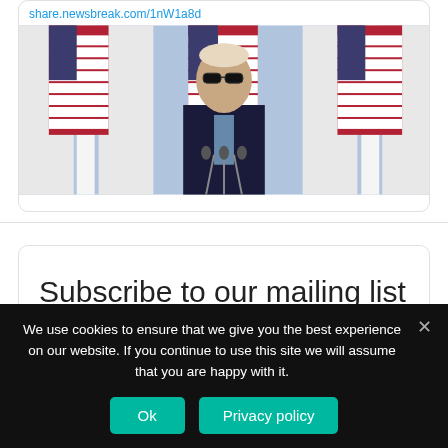share.newsbreak.com/1nW1a8d
[Figure (photo): Person in dark suit and sunglasses standing at a podium with microphones, in front of large American flags and white columns]
Subscribe to our mailing list
* indicates required
Email Address *
We use cookies to ensure that we give you the best experience on our website. If you continue to use this site we will assume that you are happy with it.
Ok
Privacy policy